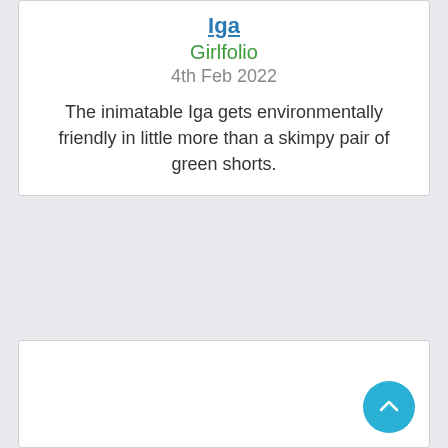Iga
Girlfolio
4th Feb 2022
The inimatable Iga gets environmentally friendly in little more than a skimpy pair of green shorts.
[Figure (other): Empty white card below the text card, with a scroll-to-top circular button in the bottom right corner.]